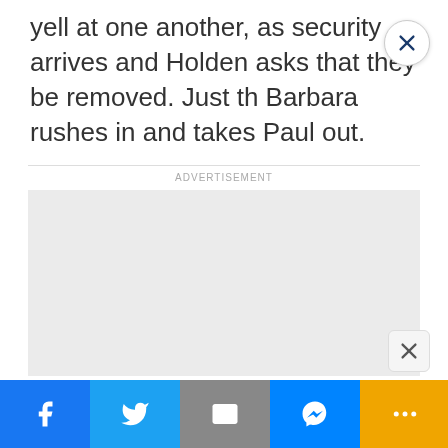yell at one another, as security arrives and Holden asks that they be removed. Just th Barbara rushes in and takes Paul out.
[Figure (other): Advertisement placeholder box (grey rectangle) with ADVERTISEMENT label above it and a close button (X) in the top right corner and another close button in the bottom right corner]
Facebook | Twitter | Email | Messenger | More | NEXT ARTICLE >